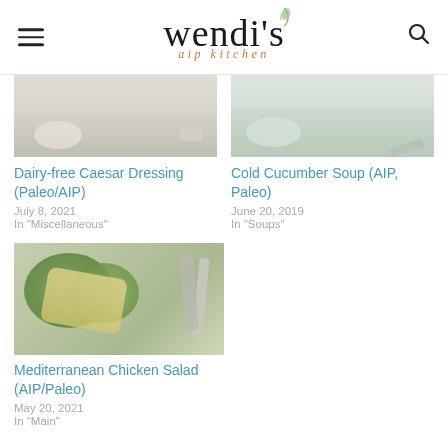wendi's aip kitchen
[Figure (photo): Partial view of a bowl with cream/white soup and garlic on a white linen background]
[Figure (photo): Partial view of a plate with a light-colored cold soup and a spoon]
Dairy-free Caesar Dressing (Paleo/AIP)
July 8, 2021
In "Miscellaneous"
Cold Cucumber Soup (AIP, Paleo)
June 20, 2019
In "Soups"
[Figure (photo): Mediterranean chicken salad on lettuce leaves with a fork on white background]
Mediterranean Chicken Salad (AIP/Paleo)
May 20, 2021
In "Main"